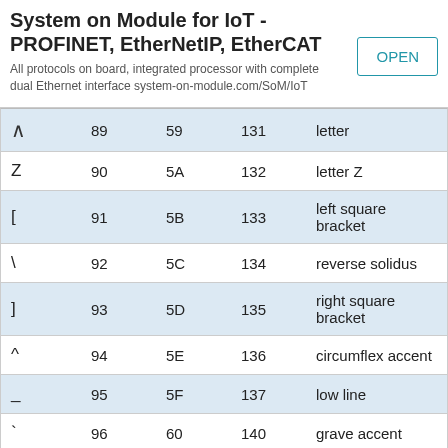System on Module for IoT - PROFINET, EtherNetIP, EtherCAT
All protocols on board, integrated processor with complete dual Ethernet interface system-on-module.com/SoM/IoT
|  |  |  |  |  |
| --- | --- | --- | --- | --- |
| ^ | 89 | 59 | 131 | letter |
| Z | 90 | 5A | 132 | letter Z |
| [ | 91 | 5B | 133 | left square bracket |
| \ | 92 | 5C | 134 | reverse solidus |
| ] | 93 | 5D | 135 | right square bracket |
| ^ | 94 | 5E | 136 | circumflex accent |
| _ | 95 | 5F | 137 | low line |
| ` | 96 | 60 | 140 | grave accent |
| a | 97 | 61 | 141 | letter a |
| b | 98 | 62 | 142 | letter b |
| c | 99 | 63 | 143 | letter c |
| d | 100 | 64 | 144 | letter d |